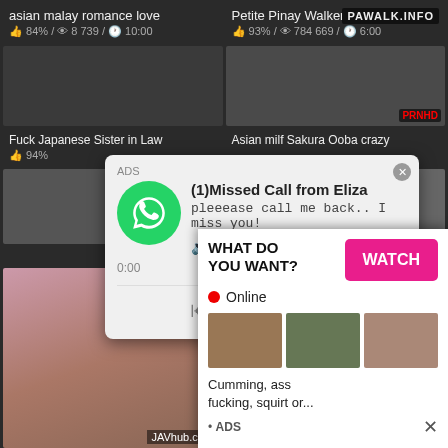[Figure (screenshot): Adult video thumbnail website screenshot with overlaid ads. Top row shows two video cards: 'asian malay romance love' (84% / 8 739 / 10:00) and 'Petite Pinay Walker' (93% / 784 669 / 6:00). Middle row shows video thumbnails. A WhatsApp-style audio ad overlay reads '(1)Missed Call from Eliza - pleeease call me back.. I miss you!' with 0:00 / 3:23 time display. A second ad overlay reads 'WHAT DO YOU WANT? WATCH Online' with thumbnail images and text 'Cumming, ass fucking, squirt or... ADS'.]
asian malay romance love
84% / 8 739 / 10:00
Petite Pinay Walker
93% / 784 669 / 6:00
ADS
(1)Missed Call from Eliza
pleeease call me back.. I miss you!
0:00
3:23
Fuck Japanese Sister in Law
Asian milf Sakura Ooba crazy
WHAT DO YOU WANT?
WATCH
Online
Cumming, ass fucking, squirt or...
• ADS
JAVhub.com